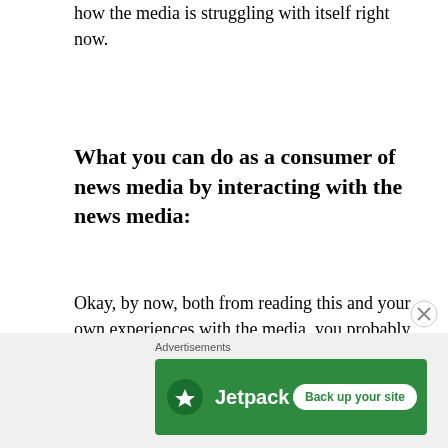how the media is struggling with itself right now.
What you can do as a consumer of news media by interacting with the news media:
Okay, by now, both from reading this and your own experiences with the media, you probably have a sense of what you're watching and what you want the media to do. But how can you encourage the media to do those things?
[Figure (other): Jetpack advertisement banner with green background, Jetpack logo and 'Back up your site' button]
Advertisements